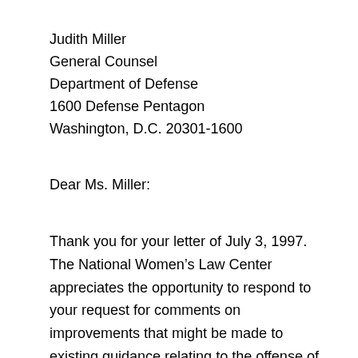Judith Miller
General Counsel
Department of Defense
1600 Defense Pentagon
Washington, D.C. 20301-1600
Dear Ms. Miller:
Thank you for your letter of July 3, 1997. The National Women’s Law Center appreciates the opportunity to respond to your request for comments on improvements that might be made to existing guidance relating to the offense of adultery under the Uniform Code of Military Justice (UCMJ), for consideration by the Department of Defense senior review panel. The Center also appreciates